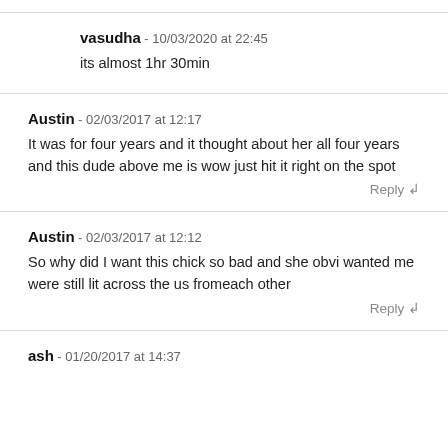vasudha - 10/03/2020 at 22:45
its almost 1hr 30min
Austin - 02/03/2017 at 12:17
It was for four years and it thought about her all four years and this dude above me is wow just hit it right on the spot
Austin - 02/03/2017 at 12:12
So why did I want this chick so bad and she obvi wanted me were still lit across the us fromeach other
ash - 01/20/2017 at 14:37